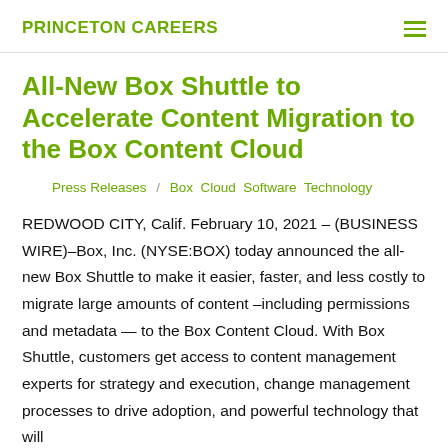PRINCETON CAREERS
All-New Box Shuttle to Accelerate Content Migration to the Box Content Cloud
Press Releases / Box Cloud Software Technology
REDWOOD CITY, Calif. February 10, 2021 – (BUSINESS WIRE)–Box, Inc. (NYSE:BOX) today announced the all-new Box Shuttle to make it easier, faster, and less costly to migrate large amounts of content –including permissions and metadata — to the Box Content Cloud. With Box Shuttle, customers get access to content management experts for strategy and execution, change management processes to drive adoption, and powerful technology that will